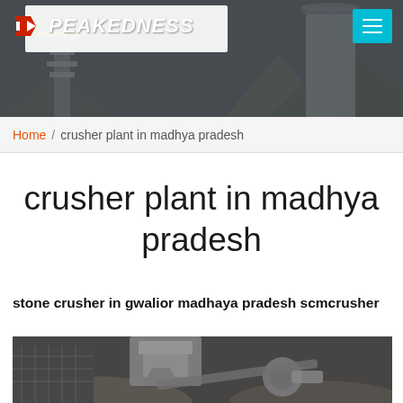PEAKEDNESS
Home / crusher plant in madhya pradesh
crusher plant in madhya pradesh
stone crusher in gwalior madhaya pradesh scmcrusher
[Figure (photo): Industrial stone crusher plant machinery with conveyor equipment, photographed at a quarry or construction site]